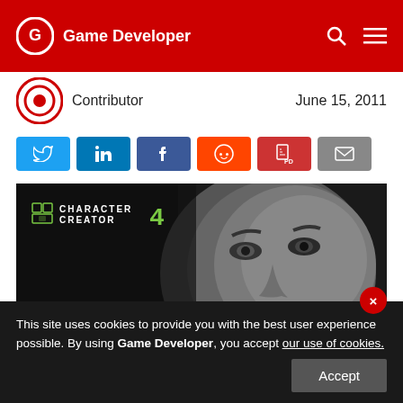Game Developer
Contributor  June 15, 2011
[Figure (other): Social share buttons: Twitter, LinkedIn, Facebook, Reddit, PDF, Email]
[Figure (photo): Character Creator 4 promotional image showing a realistic male face in dark lighting with 'UNIVERSAL' text overlay]
This site uses cookies to provide you with the best user experience possible. By using Game Developer, you accept our use of cookies.
Accept